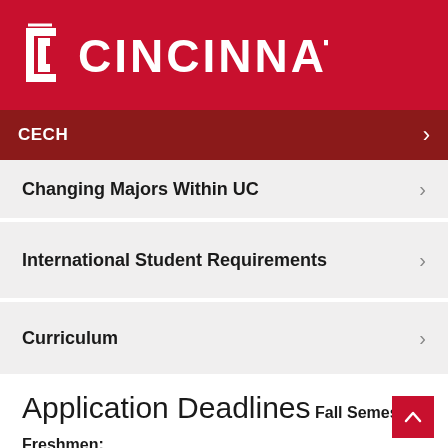[Figure (logo): University of Cincinnati logo — UC monogram icon and CINCINNATI wordmark in white on red background]
CECH
Changing Majors Within UC
International Student Requirements
Curriculum
Application Deadlines
Fall Semester
Freshmen:
Early Action Deadline: Dec 1*